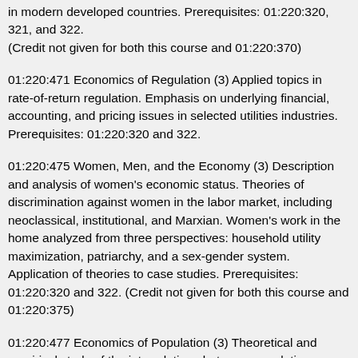in modern developed countries. Prerequisites: 01:220:320, 321, and 322.
(Credit not given for both this course and 01:220:370)
01:220:471 Economics of Regulation (3) Applied topics in rate-of-return regulation. Emphasis on underlying financial, accounting, and pricing issues in selected utilities industries. Prerequisites: 01:220:320 and 322.
01:220:475 Women, Men, and the Economy (3) Description and analysis of women's economic status. Theories of discrimination against women in the labor market, including neoclassical, institutional, and Marxian. Women's work in the home analyzed from three perspectives: household utility maximization, patriarchy, and a sex-gender system. Application of theories to case studies. Prerequisites: 01:220:320 and 322. (Credit not given for both this course and 01:220:375)
01:220:477 Economics of Population (3) Theoretical and empirical study of the interrelations between population change and economic change in developed as well as